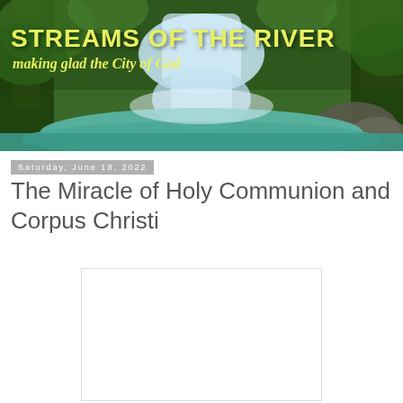[Figure (photo): Banner image showing a lush tropical waterfall scene with green foliage and turquoise water, overlaid with the text 'STREAMS OF THE RIVER' in bold yellow and 'making glad the City of God' in italic yellow below]
Saturday, June 18, 2022
The Miracle of Holy Communion and Corpus Christi
[Figure (photo): Empty white rectangular placeholder box with a light gray border]